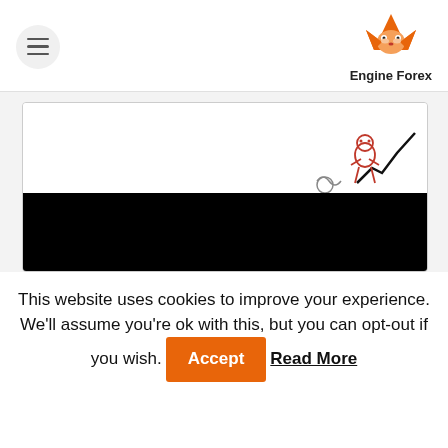Engine Forex
[Figure (illustration): Hero image with white upper section showing a cartoon fox/animal character in red line art with a rising chart line, and a black lower section.]
This website uses cookies to improve your experience. We'll assume you're ok with this, but you can opt-out if you wish. Accept Read More